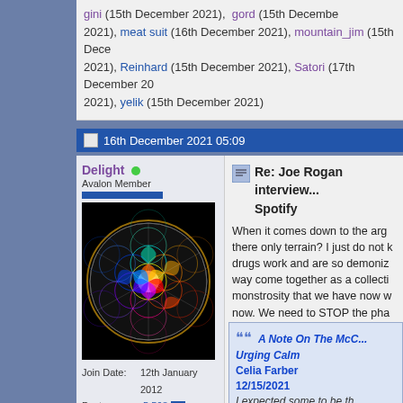gini (15th December 2021), gord (15th December 2021), meat suit (16th December 2021), mountain_jim (15th December 2021), Reinhard (15th December 2021), Satori (17th December 2021), yelik (15th December 2021)
16th December 2021 05:09
Delight [online] - Avalon Member
[Figure (illustration): Colorful flower of life sacred geometry pattern on black background with radiant colors]
Join Date: 12th January 2012
Posts: 5,568
Thanks: 8,143
Thanked 34,363 times in 5,203 posts
Re: Joe Rogan interview... Spotify
When it comes down to the arg... there only terrain? I just do not ... drugs work and are so demoniz... way come together as a collecti... monstrosity that we have now w... now. We need to STOP the pha... allow them to control us in any v... declare that in this great need w... hosts must fulfill this need. Peop... McCullough and Celia Farber a... make it happen. I am praying fo...
A Note On The McC... Urging Calm
Celia Farber
12/15/2021
I expected some to be th...